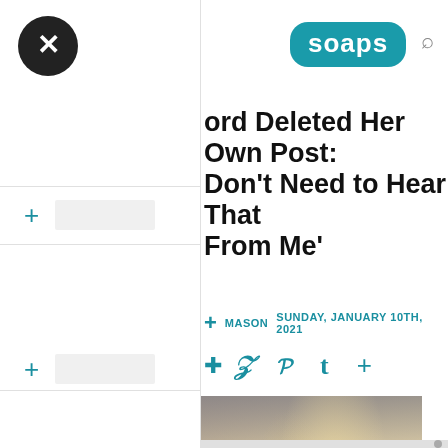soaps
ord Deleted Her Own Post: Don't Need to Hear That From Me'
MASON   SUNDAY, JANUARY 10TH, 2021
[Figure (photo): Partial view of a woman with long blonde hair, blurred/out-of-focus photo]